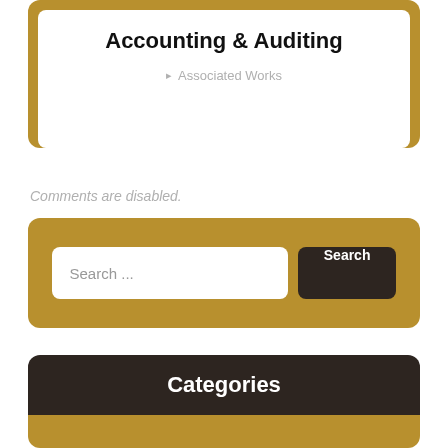Accounting & Auditing
Associated Works
Comments are disabled.
[Figure (screenshot): Search bar with white input field showing 'Search ...' placeholder and a dark brown 'Search' button, all inside a golden/tan rounded rectangle container.]
Categories